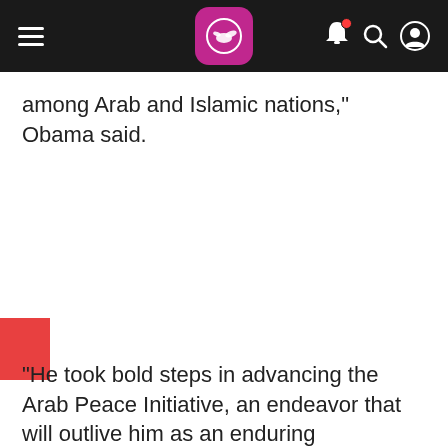[Navigation bar with hamburger menu, logo, bell, search, and user icons]
among Arab and Islamic nations," Obama said.
"He took bold steps in advancing the Arab Peace Initiative, an endeavor that will outlive him as an enduring contribution to the search for peace in the